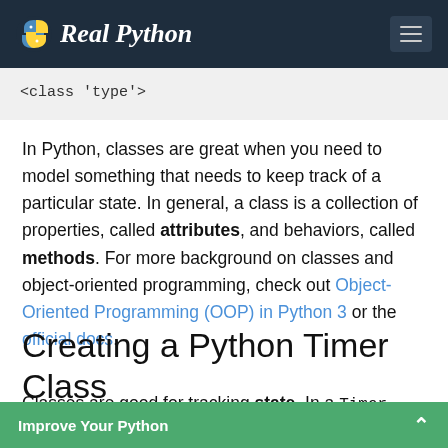Real Python
<class 'type'>
In Python, classes are great when you need to model something that needs to keep track of a particular state. In general, a class is a collection of properties, called attributes, and behaviors, called methods. For more background on classes and object-oriented programming, check out Object-Oriented Programming (OOP) in Python 3 or the official docs.
Creating a Python Timer Class
Classes are good for tracking state. In a Timer class,
Improve Your Python